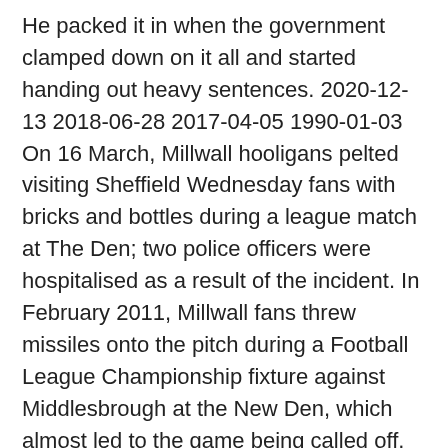He packed it in when the government clamped down on it all and started handing out heavy sentences. 2020-12-13 2018-06-28 2017-04-05 1990-01-03 On 16 March, Millwall hooligans pelted visiting Sheffield Wednesday fans with bricks and bottles during a league match at The Den; two police officers were hospitalised as a result of the incident. In February 2011, Millwall fans threw missiles onto the pitch during a Football League Championship fixture against Middlesbrough at the New Den, which almost led to the game being called off. Derby County v Millwall■Pride Park Stadium■Matchday Vlog■ UP THE RAMS■◦ ● □ □ ◦ * Derby have lost their past two league matches against Millwall, last Hooligans behind violent clashes at a match between West Ham and Millwall